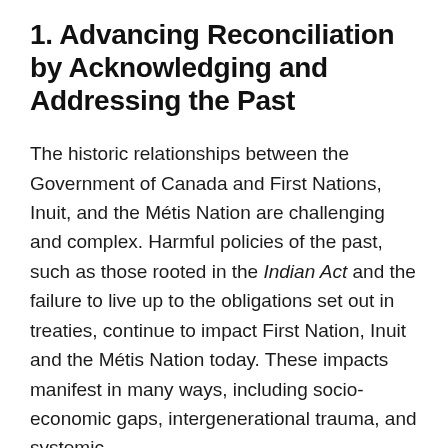1. Advancing Reconciliation by Acknowledging and Addressing the Past
The historic relationships between the Government of Canada and First Nations, Inuit, and the Métis Nation are challenging and complex. Harmful policies of the past, such as those rooted in the Indian Act and the failure to live up to the obligations set out in treaties, continue to impact First Nation, Inuit and the Métis Nation today. These impacts manifest in many ways, including socio-economic gaps, intergenerational trauma, and systemic